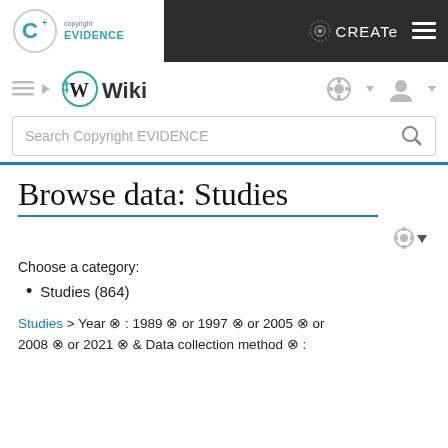[Figure (screenshot): Copyright EVIDENCE wiki website header with logo, CREATe branding, navigation bar with hamburger menu and wiki logo, search bar, and page content showing 'Browse data: Studies' title with category filter showing Studies (864) and breadcrumb navigation with year and data collection method filters.]
Browse data: Studies
Choose a category:
Studies (864)
Studies > Year ⊗ : 1989 ⊗ or 1997 ⊗ or 2005 ⊗ or 2008 ⊗ or 2021 ⊗ & Data collection method ⊗ :